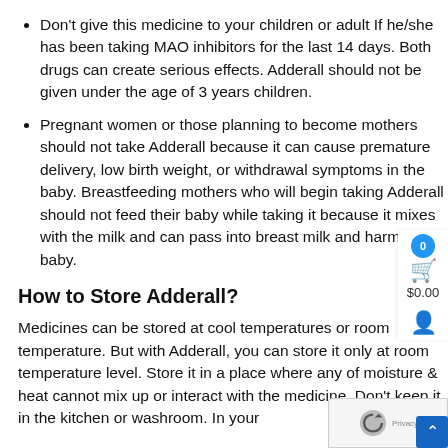Don't give this medicine to your children or adult If he/she has been taking MAO inhibitors for the last 14 days. Both drugs can create serious effects. Adderall should not be given under the age of 3 years children.
Pregnant women or those planning to become mothers should not take Adderall because it can cause premature delivery, low birth weight, or withdrawal symptoms in the baby. Breastfeeding mothers who will begin taking Adderall should not feed their baby while taking it because it mixes with the milk and can pass into breast milk and harm your baby.
How to Store Adderall?
Medicines can be stored at cool temperatures or room temperature. But with Adderall, you can store it only at room temperature level. Store it in a place where any of moisture & heat cannot mix up or interact with the medicine. Don't keep it in the kitchen or washroom. In your